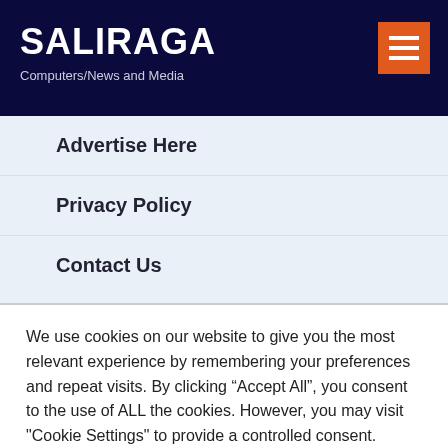SALIRAGA
Computers/News and Media
Advertise Here
Privacy Policy
Contact Us
We use cookies on our website to give you the most relevant experience by remembering your preferences and repeat visits. By clicking “Accept All”, you consent to the use of ALL the cookies. However, you may visit "Cookie Settings" to provide a controlled consent.